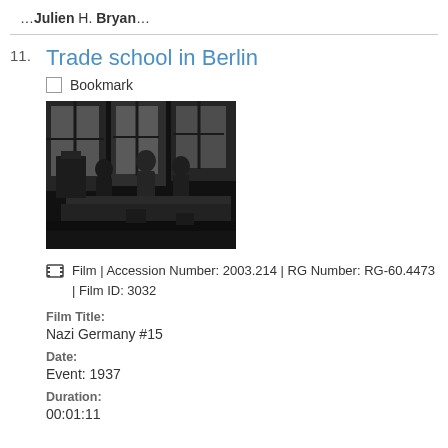…Julien H. Bryan…
Trade school in Berlin
Bookmark
[Figure (photo): Black and white photograph of students at work in a trade school in Berlin, 1937]
Film | Accession Number: 2003.214 | RG Number: RG-60.4473 | Film ID: 3032
Film Title: Nazi Germany #15
Date: Event: 1937
Duration: 00:01:11